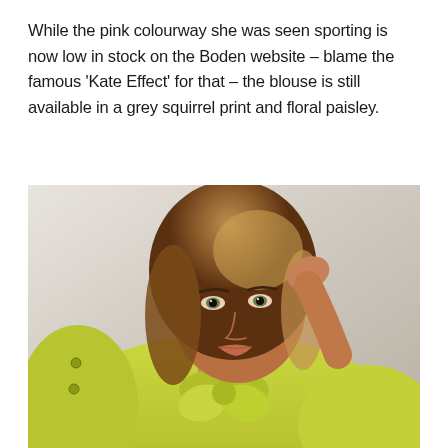While the pink colourway she was seen sporting is now low in stock on the Boden website – blame the famous 'Kate Effect' for that – the blouse is still available in a grey squirrel print and floral paisley.
[Figure (photo): A model with medium-length strawberry blonde hair wearing a yellow-green floral print blouse with a bow/scarf neckline, photographed against a light grey-beige background. Her right hand is raised near her head.]